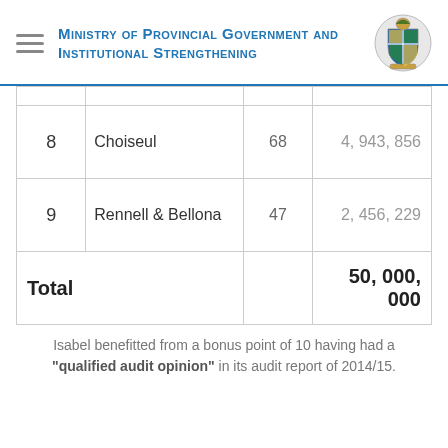Ministry of Provincial Government and Institutional Strengthening
| # | Province | Count | Amount |
| --- | --- | --- | --- |
| 8 | Choiseul | 68 | 4, 943, 856 |
| 9 | Rennell & Bellona | 47 | 2, 456, 229 |
| Total |  |  | 50, 000, 000 |
Isabel benefitted from a bonus point of 10 having had a "qualified audit opinion" in its audit report of 2014/15.